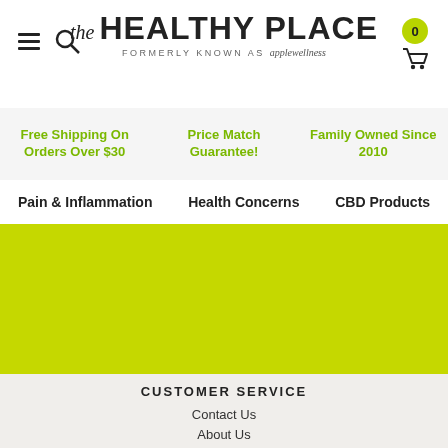[Figure (logo): The Healthy Place logo with hamburger menu, search icon, and cart badge showing 0]
Free Shipping On Orders Over $30
Price Match Guarantee!
Family Owned Since 2010
Pain & Inflammation
Health Concerns
CBD Products
[Figure (illustration): Large olive/yellow-green banner area]
CUSTOMER SERVICE
Contact Us
About Us
Terms & Conditions
Returns Policy
Shipping & Delivery